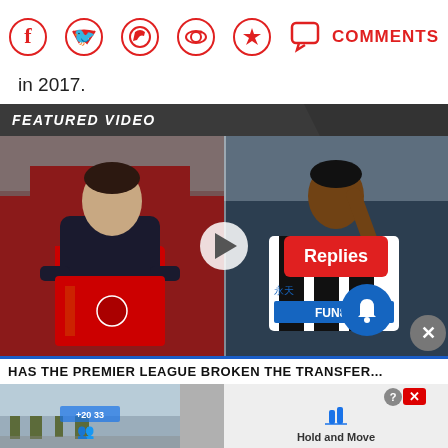[Figure (screenshot): Social sharing bar with Facebook, Twitter, WhatsApp, Reddit, Pinterest icons, comment bubble icon, and COMMENTS text in red]
in 2017.
FEATURED VIDEO
[Figure (screenshot): Split video thumbnail showing two Premier League footballers - left side shows player in Man United kit holding red shirt, right side shows Newcastle player in black/white stripes. Play button overlay in center. Replies button and bell icon overlay on right. Caption bar reads: HAS THE PREMIER LEAGUE BROKEN THE TRANSFER...]
HAS THE PREMIER LEAGUE BROKEN THE TRANSFER...
[Figure (screenshot): Advertisement banner at bottom showing a mobile game ad with Hold and Move text and close/help buttons]